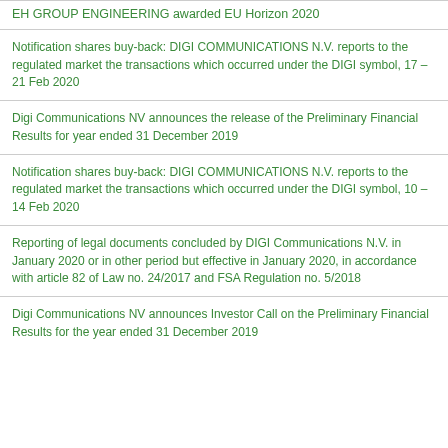EH GROUP ENGINEERING awarded EU Horizon 2020
Notification shares buy-back: DIGI COMMUNICATIONS N.V. reports to the regulated market the transactions which occurred under the DIGI symbol, 17 – 21 Feb 2020
Digi Communications NV announces the release of the Preliminary Financial Results for year ended 31 December 2019
Notification shares buy-back: DIGI COMMUNICATIONS N.V. reports to the regulated market the transactions which occurred under the DIGI symbol, 10 – 14 Feb 2020
Reporting of legal documents concluded by DIGI Communications N.V. in January 2020 or in other period but effective in January 2020, in accordance with article 82 of Law no. 24/2017 and FSA Regulation no. 5/2018
Digi Communications NV announces Investor Call on the Preliminary Financial Results for the year ended 31 December 2019